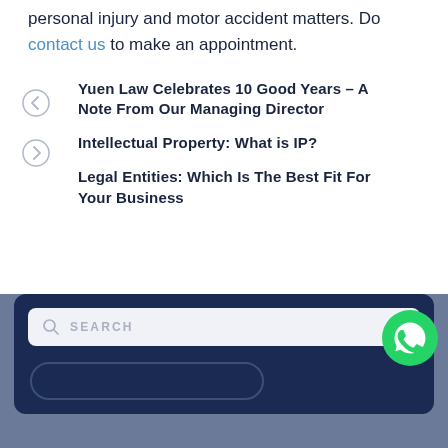Yuen Law LLC provides assistance regarding personal injury and motor accident matters. Do contact us to make an appointment.
Yuen Law Celebrates 10 Good Years – A Note From Our Managing Director
Intellectual Property: What is IP?
Legal Entities: Which Is The Best Fit For Your Business
[Figure (screenshot): Search bar with magnifying glass icon and placeholder text SEARCH, inside a dark navy rounded box with a pill-shaped button below, WhatsApp icon in lower right]